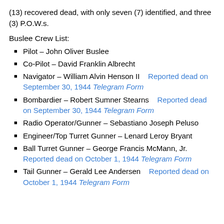(13) recovered dead, with only seven (7) identified, and three (3) P.O.W.s.
Buslee Crew List:
Pilot – John Oliver Buslee
Co-Pilot – David Franklin Albrecht
Navigator – William Alvin Henson II   Reported dead on September 30, 1944 Telegram Form
Bombardier – Robert Sumner Stearns   Reported dead on September 30, 1944 Telegram Form
Radio Operator/Gunner – Sebastiano Joseph Peluso
Engineer/Top Turret Gunner – Lenard Leroy Bryant
Ball Turret Gunner – George Francis McMann, Jr.  Reported dead on October 1, 1944 Telegram Form
Tail Gunner – Gerald Lee Andersen  Reported dead on October 1, 1944 Telegram Form